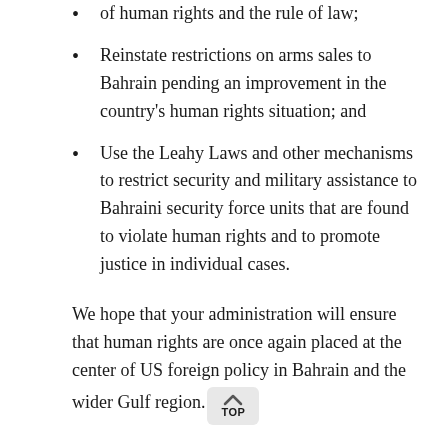of human rights and the rule of law;
Reinstate restrictions on arms sales to Bahrain pending an improvement in the country's human rights situation; and
Use the Leahy Laws and other mechanisms to restrict security and military assistance to Bahraini security force units that are found to violate human rights and to promote justice in individual cases.
We hope that your administration will ensure that human rights are once again placed at the center of US foreign policy in Bahrain and the wider Gulf region.
Yours sincerely,
Americans for Democracy & Human Rights in Bahrain (ADHRB)